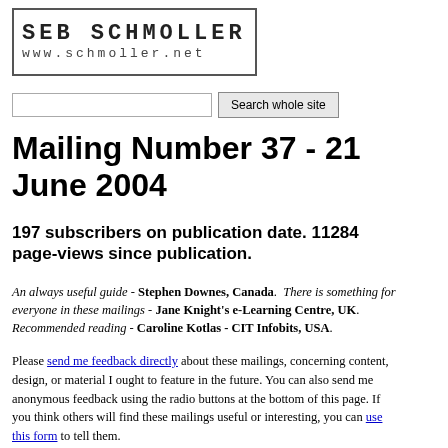[Figure (logo): Seb Schmoller logo with www.schmoller.net in monospace font inside a bordered box]
[Figure (other): Search input field and Search whole site button]
Mailing Number 37 - 21 June 2004
197 subscribers on publication date. 11284 page-views since publication.
An always useful guide - Stephen Downes, Canada. There is something for everyone in these mailings - Jane Knight's e-Learning Centre, UK. Recommended reading - Caroline Kotlas - CIT Infobits, USA.
Please send me feedback directly about these mailings, concerning content, design, or material I ought to feature in the future. You can also send me anonymous feedback using the radio buttons at the bottom of this page. If you think others will find these mailings useful or interesting, you can use this form to tell them.